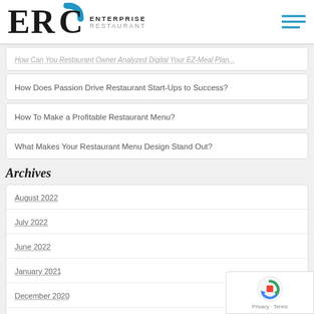ERC ENTERPRISE RESTAURANT
How Does Passion Drive Restaurant Start-Ups to Success?
How To Make a Profitable Restaurant Menu?
What Makes Your Restaurant Menu Design Stand Out?
Archives
August 2022
July 2022
June 2022
January 2021
December 2020
November 2020
May 2019